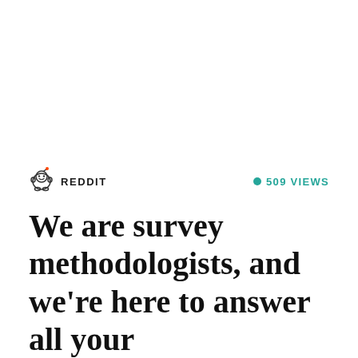[Figure (logo): Reddit Snoo alien mascot pixel/icon style logo]
REDDIT
509 VIEWS
We are survey methodologists, and we're here to answer all your